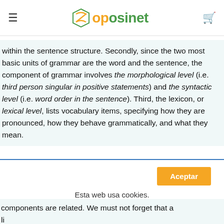oposinet
within the sentence structure. Secondly, since the two most basic units of grammar are the word and the sentence, the component of grammar involves the morphological level (i.e. third person singular in positive statements) and the syntactic level (i.e. word order in the sentence). Third, the lexicon, or lexical level, lists vocabulary items, specifying how they are pronounced, how they behave grammatically, and what they mean.
Aceptar
Esta web usa cookies.
components are related. We must not forget that a linguistic description which is concerned ch